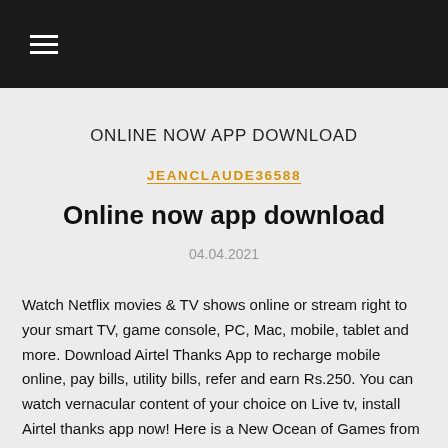≡
ONLINE NOW APP DOWNLOAD
JEANCLAUDE36588
Online now app download
04.04.2021
Watch Netflix movies & TV shows online or stream right to your smart TV, game console, PC, Mac, mobile, tablet and more. Download Airtel Thanks App to recharge mobile online, pay bills, utility bills, refer and earn Rs.250. You can watch vernacular content of your choice on Live tv, install Airtel thanks app now! Here is a New Ocean of Games from where you are allowed to